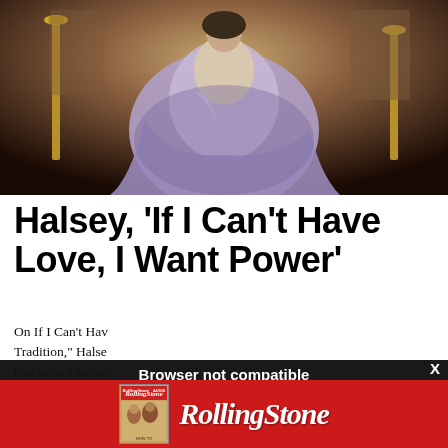[Figure (photo): A person in a flowing purple/silver gown surrounded by golden ornamental objects, photographed in a theatrical setting]
Halsey, 'If I Can't Have Love, I Want Power'
On If I Can't Hav… Tradition," Halse… that served her w… forgiveness, neve… album with Nine … Ross serving as e… the unlikely pairi… though she was b…
[Figure (screenshot): Browser not compatible modal overlay with dark background. Title: 'Browser not compatible'. Subtitle: 'You may need to update your browser'. Link: 'Report ID: 1gc5kd5kf6jssou5oat'. Close X button in top right.]
[Figure (logo): Rolling Stone magazine advertisement banner with red background showing the Rolling Stone logo in white italic script and a small magazine cover image on the left]